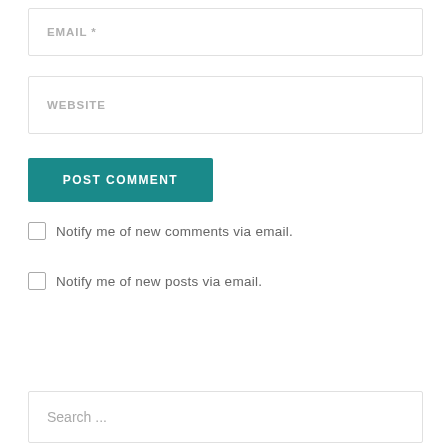EMAIL *
WEBSITE
POST COMMENT
Notify me of new comments via email.
Notify me of new posts via email.
Search ...